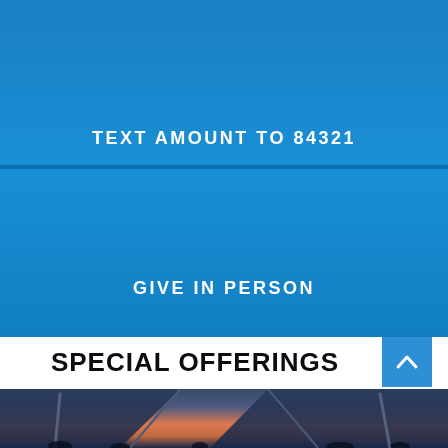[Figure (photo): Blue gradient background for text giving instruction section (top)]
TEXT AMOUNT TO 84321
[Figure (photo): Blue gradient background for give in person section (bottom)]
GIVE IN PERSON
SPECIAL OFFERINGS
[Figure (photo): Outdoor event tent canopy against sunset sky with silhouetted people]